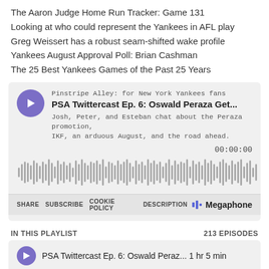The Aaron Judge Home Run Tracker: Game 131
Looking at who could represent the Yankees in AFL play
Greg Weissert has a robust seam-shifted wake profile
Yankees August Approval Poll: Brian Cashman
The 25 Best Yankees Games of the Past 25 Years
[Figure (screenshot): Megaphone podcast player embed showing 'PSA Twittercast Ep. 6: Oswald Peraza Get...' from Pinstripe Alley: for New York Yankees fans. Includes play button, description, waveform, time 00:00:00, and controls for SHARE, SUBSCRIBE, COOKIE POLICY, DESCRIPTION, and Megaphone branding.]
IN THIS PLAYLIST   213 EPISODES
PSA Twittercast Ep. 6: Oswald Peraz... 1 hr 5 min